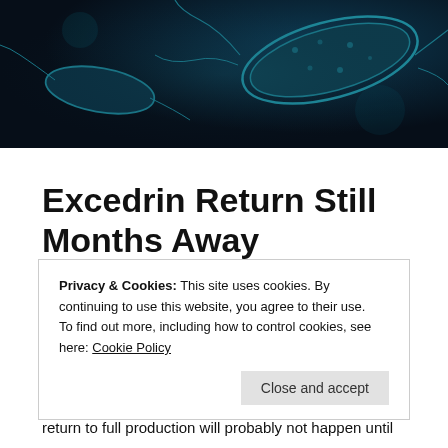[Figure (photo): Dark blue background with microscopic bacteria/microorganism images in teal tones]
Excedrin Return Still Months Away
Phyllis Entis   recalls   April 24, 2012
2 Minutes
Privacy & Cookies: This site uses cookies. By continuing to use this website, you agree to their use.
To find out more, including how to control cookies, see here: Cookie Policy
Close and accept
return to full production will probably not happen until